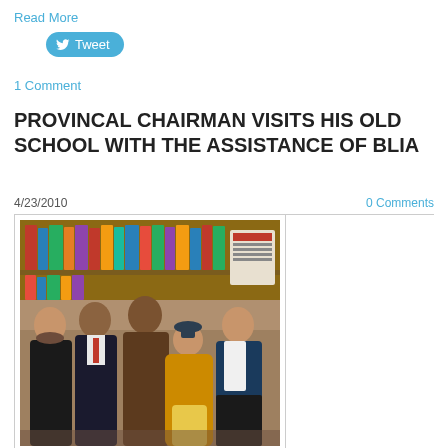Read More
Tweet
1 Comment
PROVINCAL CHAIRMAN VISITS HIS OLD SCHOOL WITH THE ASSISTANCE OF BLIA
4/23/2010
0 Comments
[Figure (photo): Group photo of five people standing together in what appears to be a library or classroom. From left to right: a woman in a black outfit with a scarf, a man in a dark suit with a red tie, a tall man in a brown suit, a person in a Buddhist monk robe (orange/tan) wearing a police-style cap, and a man in a white and navy jacket. Bookshelves and posters are visible in the background.]